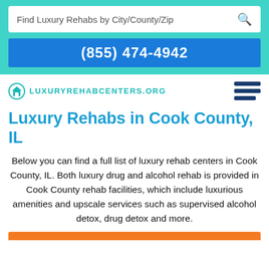Find Luxury Rehabs by City/County/Zip
(855) 474-4942
[Figure (logo): LuxuryRehabCenters.org logo with teal home icon and teal uppercase text]
Luxury Rehabs in Cook County, IL
Below you can find a full list of luxury rehab centers in Cook County, IL. Both luxury drug and alcohol rehab is provided in Cook County rehab facilities, which include luxurious amenities and upscale services such as supervised alcohol detox, drug detox and more.